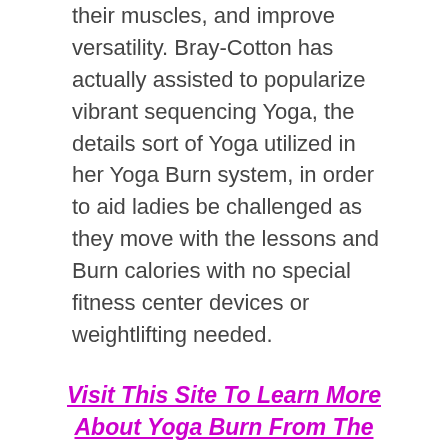their muscles, and improve versatility. Bray-Cotton has actually assisted to popularize vibrant sequencing Yoga, the details sort of Yoga utilized in her Yoga Burn system, in order to aid ladies be challenged as they move with the lessons and Burn calories with no special fitness center devices or weightlifting needed.
Visit This Site To Learn More About Yoga Burn From The Official Internet Site ->
Bray-Cotton strives to make her physical fitness workouts accessible to females all over by offering her courses in a house workout variation. She is also responsible for producing the Yoga Burn Instagram neighborhood where women can discover physical fitness tips and also assistance